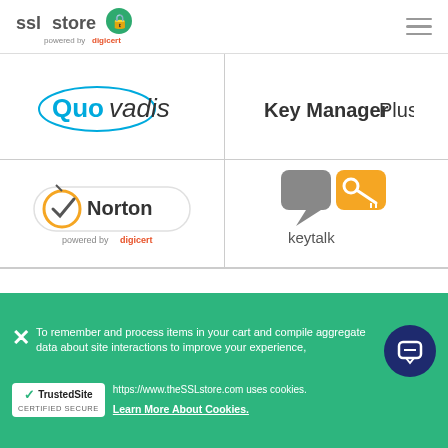[Figure (logo): SSL Store powered by DigiCert logo in page header]
[Figure (logo): QuoVadis logo in left column]
[Figure (logo): Key Manager Plus text logo in right column]
[Figure (logo): Norton powered by DigiCert logo in left column]
[Figure (logo): Keytalk logo (speech bubble with key icon) in right column]
[Figure (logo): SECTIGO large logo in center section]
[Figure (logo): Bottom row: Sectigo SSL, Code Guard, Sectigo Web logos partially visible]
To remember and process items in your cart and compile aggregate data about site interactions to improve your experience, https://www.theSSLstore.com uses cookies.
Learn More About Cookies.